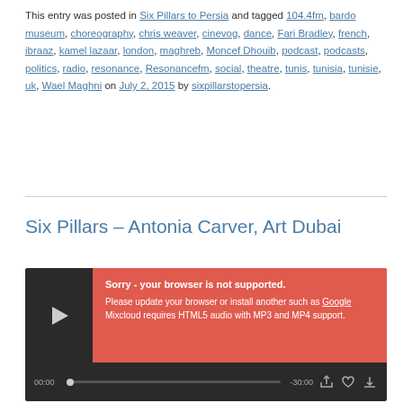This entry was posted in Six Pillars to Persia and tagged 104.4fm, bardo museum, choreography, chris weaver, cinevog, dance, Fari Bradley, french, ibraaz, kamel lazaar, london, maghreb, Moncef Dhouib, podcast, podcasts, politics, radio, resonance, Resonancefm, social, theatre, tunis, tunisia, tunisie, uk, Wael Maghni on July 2, 2015 by sixpillarstopersia.
Six Pillars – Antonia Carver, Art Dubai
[Figure (other): Mixcloud audio player widget with dark background showing a play button, error overlay message 'Sorry - your browser is not supported. Please update your browser or install another such as Google. Mixcloud requires HTML5 audio with MP3 and MP4 support.' and a progress bar showing 00:00 / -30:00.]